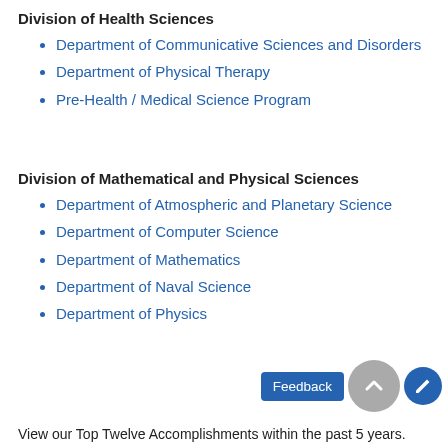Division of Health Sciences
Department of Communicative Sciences and Disorders
Department of Physical Therapy
Pre-Health / Medical Science Program
Division of Mathematical and Physical Sciences
Department of Atmospheric and Planetary Science
Department of Computer Science
Department of Mathematics
Department of Naval Science
Department of Physics
View our Top Twelve Accomplishments within the past 5 years.